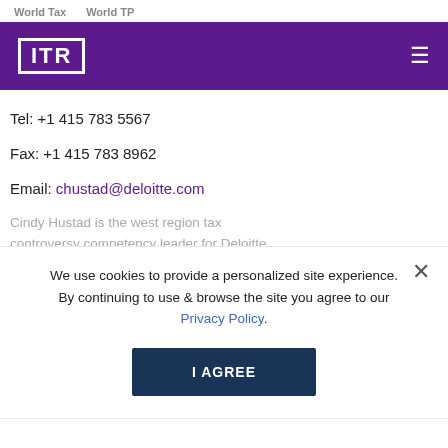World Tax    World TP
[Figure (logo): ITR logo in white on purple navigation bar with hamburger menu icon]
Tel: +1 415 783 5567
Fax: +1 415 783 8962
Email: chustad@deloitte.com
Cindy Hustad is the west region tax controversy competency leader for Deloitte Tax LLP. In this role she represents taxpayers before the Internal Revenue Service (IRS).
We use cookies to provide a personalized site experience. By continuing to use & browse the site you agree to our Privacy Policy.
During her tenure at Deloitte, Cindy has successfully represented many large and small clients, both at the examination and appeals levels, specialising in complex IRS